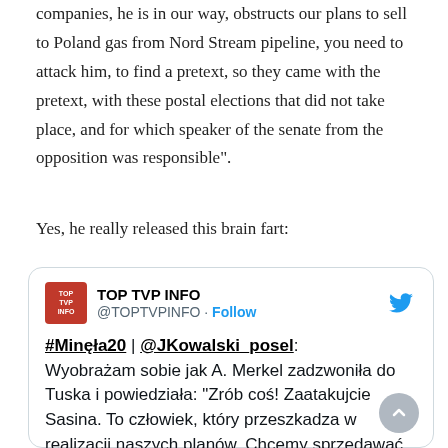companies, he is in our way, obstructs our plans to sell to Poland gas from Nord Stream pipeline, you need to attack him, to find a pretext, so they came with the pretext, with these postal elections that did not take place, and for which speaker of the senate from the opposition was responsible".
Yes, he really released this brain fart:
[Figure (screenshot): Embedded tweet from @TOPTVPINFO account 'TOP TVP INFO' showing text: '#Minęła20 | @JKowalski_posel: Wyobrażam sobie jak A. Merkel zadzwoniła do Tuska i powiedziała: "Zrób coś! Zaatakujcie Sasina. To człowiek, który przeszkadza w realizacji naszych planów. Chcemy sprzedawać gaz z Nord Streamu". Pretekstem do ataku stały się' with a Follow button and Twitter bird icon.]